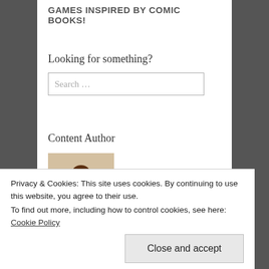GAMES INSPIRED BY COMIC BOOKS!
Looking for something?
Content Author
Blair Farrell
Recent Posts
Privacy & Cookies: This site uses cookies. By continuing to use this website, you agree to their use.
To find out more, including how to control cookies, see here: Cookie Policy
Close and accept